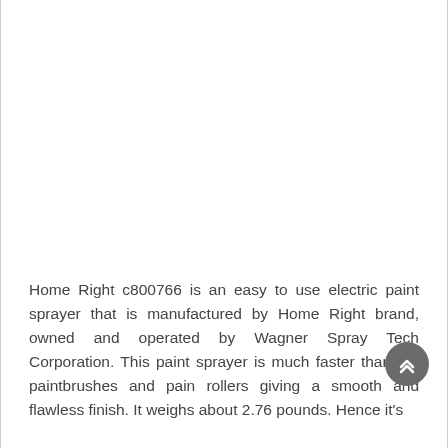Home Right c800766 is an easy to use electric paint sprayer that is manufactured by Home Right brand, owned and operated by Wagner Spray Tech Corporation. This paint sprayer is much faster than the paintbrushes and pain rollers giving a smooth and flawless finish. It weighs about 2.76 pounds. Hence it's